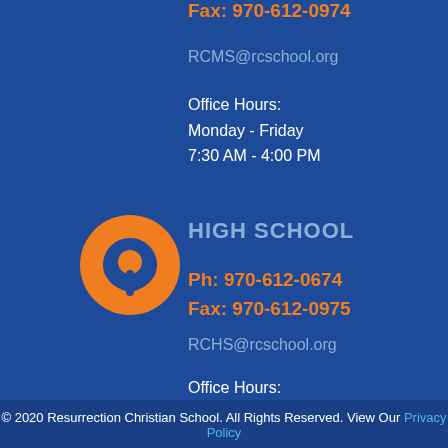Fax: 970-612-0974
RCMS@rcschool.org
Office Hours:
Monday - Friday
7:30 AM - 4:00 PM
[Figure (illustration): Orange circle with a map pin/location icon in dark blue]
HIGH SCHOOL
Ph: 970-612-0674
Fax: 970-612-0975
RCHS@rcschool.org
Office Hours:
Monday - Friday
7:30 AM - 4:00 PM
© 2020 Resurrection Christian School. All Rights Reserved. View Our Privacy Policy